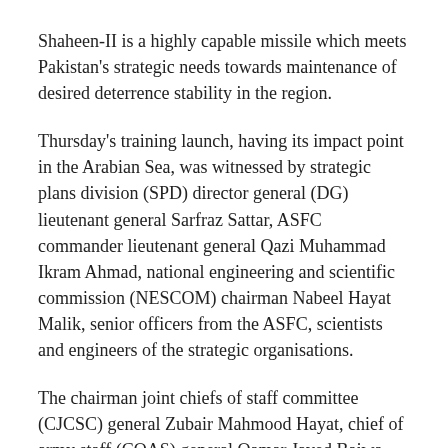Shaheen-II is a highly capable missile which meets Pakistan's strategic needs towards maintenance of desired deterrence stability in the region.
Thursday's training launch, having its impact point in the Arabian Sea, was witnessed by strategic plans division (SPD) director general (DG) lieutenant general Sarfraz Sattar, ASFC commander lieutenant general Qazi Muhammad Ikram Ahmad, national engineering and scientific commission (NESCOM) chairman Nabeel Hayat Malik, senior officers from the ASFC, scientists and engineers of the strategic organisations.
The chairman joint chiefs of staff committee (CJCSC) general Zubair Mahmood Hayat, chief of army staff (COAS) general Qamar Javed Bajwa, chief of the naval staff (CNS) admiral Zafar Mahmood Abbasi, chief of air staff (CAS) air chief marshal Mujahid Anwar Khan congratulated the scientists and engineers on conduct of Thursday's successful training launch.